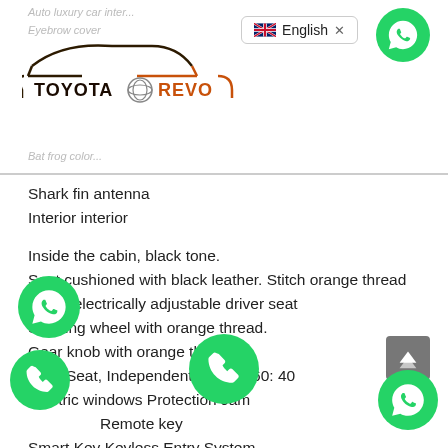Toyota Revo - Toyota logo and brand header with English language selector
Shark fin antenna
Interior interior
Inside the cabin, black tone.
Seat cushioned with black leather. Stitch orange thread
8-way electrically adjustable driver seat
Steering wheel with orange thread.
Gear knob with orange thread
Rear Seat, Independent Folding 60: 40
Electric windows Protection Jam
Remote key
Smart Key Keyless Entry System
Push Start Button
12 Volt Charger
Round caps
Automatic air conditioning Independent split left – right Dual Zone